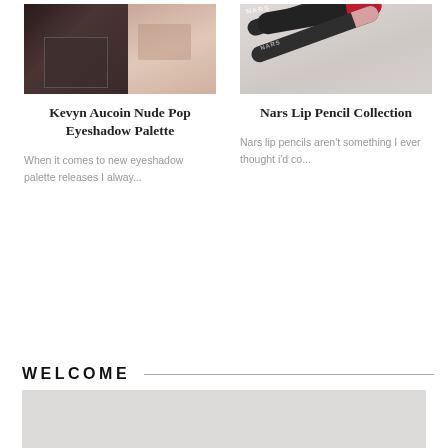[Figure (photo): Kevyn Aucoin eyeshadow palette makeup product photo, split with two sub-images showing palette and product]
[Figure (photo): NARS lip pencils in red and nude on marble surface]
Kevyn Aucoin Nude Pop Eyeshadow Palette
Nars Lip Pencil Collection
When it comes to new eyeshadow palette releases I alway...
Nars lip pencils aren't something I ever thought i'd co...
WELCOME
[Figure (photo): Welcome section image placeholder, light gray rectangle]